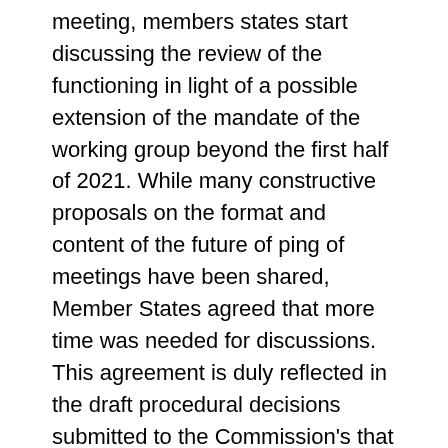meeting, members states start discussing the review of the functioning in light of a possible extension of the mandate of the working group beyond the first half of 2021. While many constructive proposals on the format and content of the future of ping of meetings have been shared, Member States agreed that more time was needed for discussions. This agreement is duly reflected in the draft procedural decisions submitted to the Commission's that will be considered tomorrow, which would extend the mandate of the working group until the end of 2021. This decision gives members sufficient time to discuss for the modalities, including with regard to the content and format of the work, while at the same time allowing